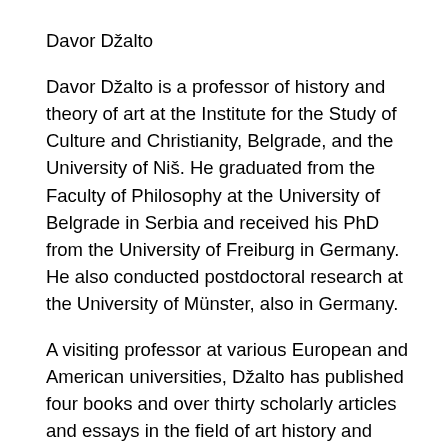Davor Džalto
Davor Džalto is a professor of history and theory of art at the Institute for the Study of Culture and Christianity, Belgrade, and the University of Niš. He graduated from the Faculty of Philosophy at the University of Belgrade in Serbia and received his PhD from the University of Freiburg in Germany. He also conducted postdoctoral research at the University of Münster, also in Germany.
A visiting professor at various European and American universities, Džalto has published four books and over thirty scholarly articles and essays in the field of art history and theory, cultural studies, philosophy, and Orthodox theology. He is also an artist, working in the media of painting, objects, installations, performances and video art. He has